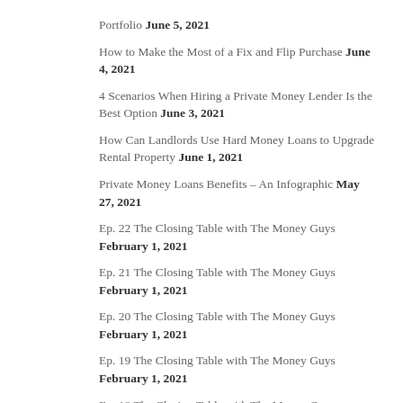Portfolio June 5, 2021
How to Make the Most of a Fix and Flip Purchase June 4, 2021
4 Scenarios When Hiring a Private Money Lender Is the Best Option June 3, 2021
How Can Landlords Use Hard Money Loans to Upgrade Rental Property June 1, 2021
Private Money Loans Benefits – An Infographic May 27, 2021
Ep. 22 The Closing Table with The Money Guys February 1, 2021
Ep. 21 The Closing Table with The Money Guys February 1, 2021
Ep. 20 The Closing Table with The Money Guys February 1, 2021
Ep. 19 The Closing Table with The Money Guys February 1, 2021
Ep. 18 The Closing Table with The Money Guys February 1,